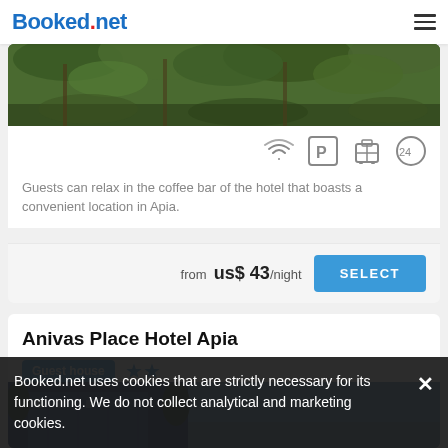Booked.net
[Figure (photo): Hotel garden photo with tropical palm trees and lush greenery]
[Figure (infographic): Amenity icons: WiFi, Parking (P), Luggage storage, 24-hour service]
Guests can relax in the coffee bar of the hotel that boasts a convenient location in Apia.
from us$ 43/night
Anivas Place Hotel Apia
Guest house ★★
[Figure (photo): Anivas Place Hotel Apia exterior photo showing building facade]
Booked.net uses cookies that are strictly necessary for its functioning. We do not collect analytical and marketing cookies.